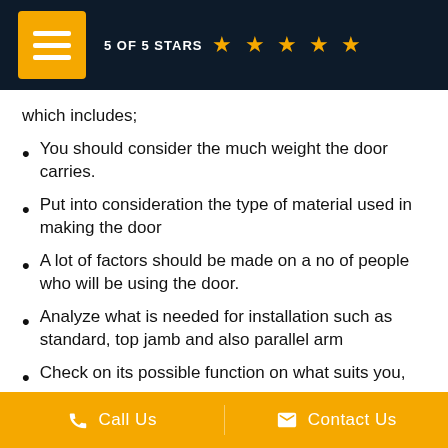5 OF 5 STARS ★★★★★
which includes;
You should consider the much weight the door carries.
Put into consideration the type of material used in making the door
A lot of factors should be made on a no of people who will be using the door.
Analyze what is needed for installation such as standard, top jamb and also parallel arm
Check on its possible function on what suits you,
Call Us   Contact Us